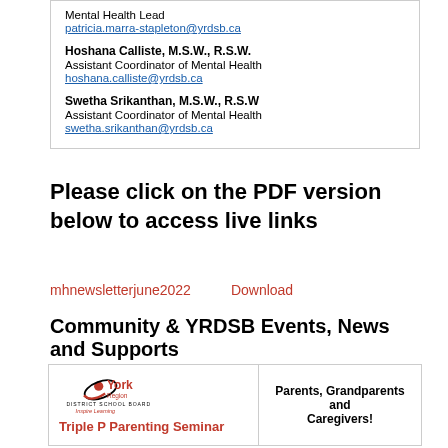Mental Health Lead
patricia.marra-stapleton@yrdsb.ca

Hoshana Calliste, M.S.W., R.S.W.
Assistant Coordinator of Mental Health
hoshana.calliste@yrdsb.ca

Swetha Srikanthan, M.S.W., R.S.W
Assistant Coordinator of Mental Health
swetha.srikanthan@yrdsb.ca
Please click on the PDF version below  to access live links
mhnewsletterjune2022    Download
Community & YRDSB Events, News and Supports
[Figure (logo): York Region District School Board logo with Inspire Learning tagline, Triple P Parenting Seminar text in red]
Parents, Grandparents and Caregivers!